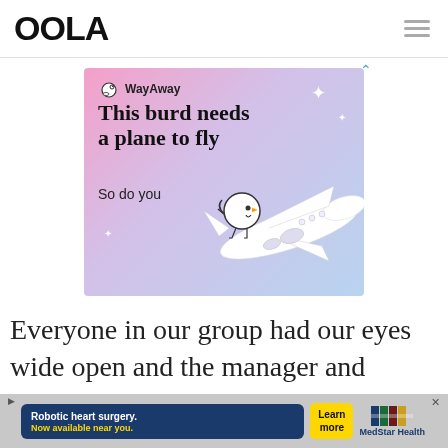OOLA
[Figure (illustration): WayAway travel advertisement with gradient pink-to-blue background showing a cartoon bird character flying alongside a white airplane. Text reads: 'This burd needs a plane to fly / So do you']
Everyone in our group had our eyes wide open and the manager and
[Figure (infographic): Bottom advertisement banner for MedStar Health robotic heart surgery. Dark blue background with text 'Robotic heart surgery. Now available near you.' Yellow 'Learn more' button and MedStar Health logo.]